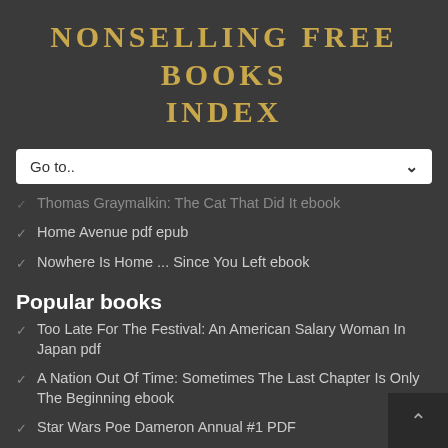NONSELLING FREE BOOKS INDEX
Thomas Graymalkin: The Cat That Did It ebook
Home Avenue pdf epub
Nowhere Is Home ... Since You Left ebook
Popular books
Too Late For The Festival: An American Salary Woman In Japan pdf
A Nation Out Of Time: Sometimes The Last Chapter Is Only The Beginning ebook
Star Wars Poe Dameron Annual #1 PDF